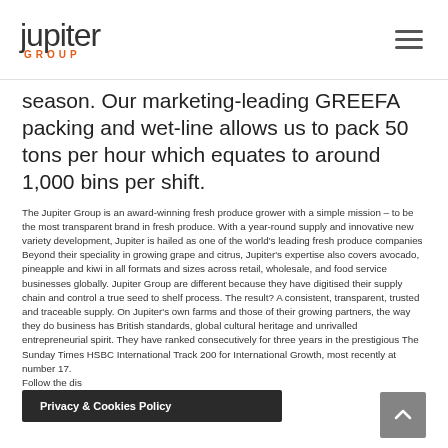Jupiter Group
season. Our marketing-leading GREEFA packing and wet-line allows us to pack 50 tons per hour which equates to around 1,000 bins per shift.
The Jupiter Group is an award-winning fresh produce grower with a simple mission – to be the most transparent brand in fresh produce. With a year-round supply and innovative new variety development, Jupiter is hailed as one of the world's leading fresh produce companies Beyond their speciality in growing grape and citrus, Jupiter's expertise also covers avocado, pineapple and kiwi in all formats and sizes across retail, wholesale, and food service businesses globally. Jupiter Group are different because they have digitised their supply chain and control a true seed to shelf process. The result? A consistent, transparent, trusted and traceable supply. On Jupiter's own farms and those of their growing partners, the way they do business has British standards, global cultural heritage and unrivalled entrepreneurial spirit. They have ranked consecutively for three years in the prestigious The Sunday Times HSBC International Track 200 for International Growth, most recently at number 17. Follow the dis... on Twitter, Lin... ...d YouTube
Privacy & Cookies Policy